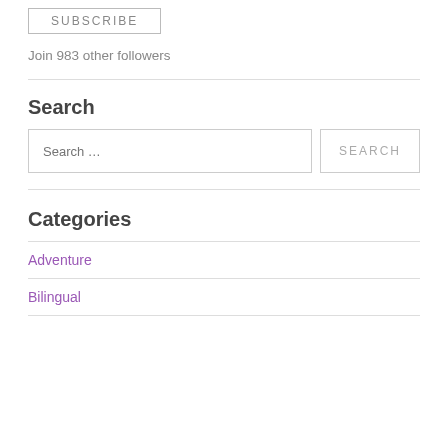SUBSCRIBE
Join 983 other followers
Search
Search …
Categories
Adventure
Bilingual